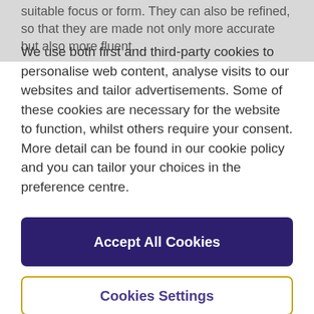suitable focus or form. They can also be refined, so that they are made not only more accurate but also more fluent …
We use both first and third-party cookies to personalise web content, analyse visits to our websites and tailor advertisements. Some of these cookies are necessary for the website to function, whilst others require your consent. More detail can be found in our cookie policy and you can tailor your choices in the preference centre.
Accept All Cookies
Cookies Settings